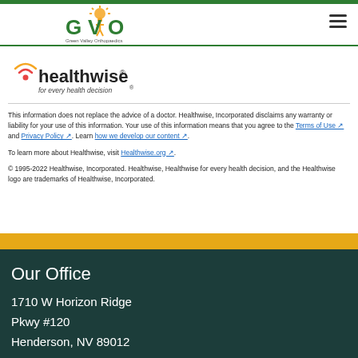GVO Green Valley Orthopaedics
[Figure (logo): Healthwise logo with red signal/wifi icon and tagline 'for every health decision']
This information does not replace the advice of a doctor. Healthwise, Incorporated disclaims any warranty or liability for your use of this information. Your use of this information means that you agree to the Terms of Use and Privacy Policy. Learn how we develop our content.
To learn more about Healthwise, visit Healthwise.org.
© 1995-2022 Healthwise, Incorporated. Healthwise, Healthwise for every health decision, and the Healthwise logo are trademarks of Healthwise, Incorporated.
Our Office
1710 W Horizon Ridge Pkwy #120
Henderson, NV 89012